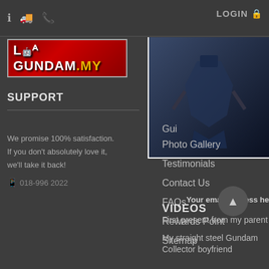LOGIN
[Figure (logo): Lah Gundam.my logo in red with border]
[Figure (screenshot): Dropdown panel with blue/dark Gundam image]
SUPPORT
We promise 100% satisfaction. If you don't absolutely love it, we'll take it back!
018-996 2022
Gui
Photo Gallery
Testimonials
Contact Us
FAQs
Rewards Point
Sitemap
Your email address he
VIDEOS
First present from my parent
My straight steel Gundam Collector boyfriend